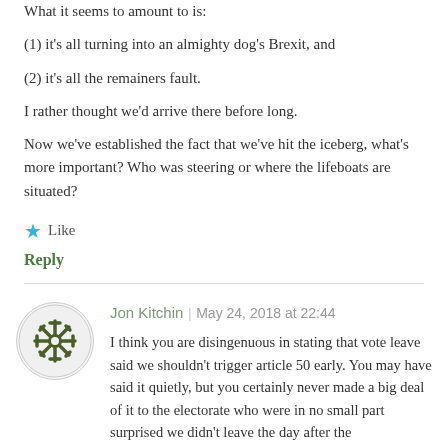What it seems to amount to is:
(1) it's all turning into an almighty dog's Brexit, and
(2) it's all the remainers fault.
I rather thought we'd arrive there before long.
Now we've established the fact that we've hit the iceberg, what's more important? Who was steering or where the lifeboats are situated?
★ Like
Reply
Jon Kitchin | May 24, 2018 at 22:44
I think you are disingenuous in stating that vote leave said we shouldn't trigger article 50 early. You may have said it quietly, but you certainly never made a big deal of it to the electorate who were in no small part surprised we didn't leave the day after the